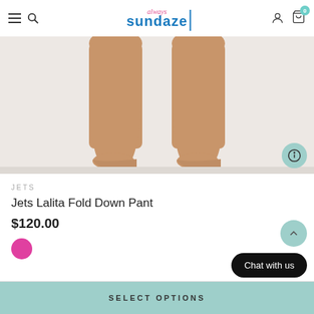always sundaze — navigation header with hamburger menu, search, logo, user and cart icons
[Figure (photo): Close-up photo of a person's bare legs and feet standing on a white background, cropped at the knees]
JETS
Jets Lalita Fold Down Pant
$120.00
[Figure (other): Pink/magenta color swatch circle]
SELECT OPTIONS